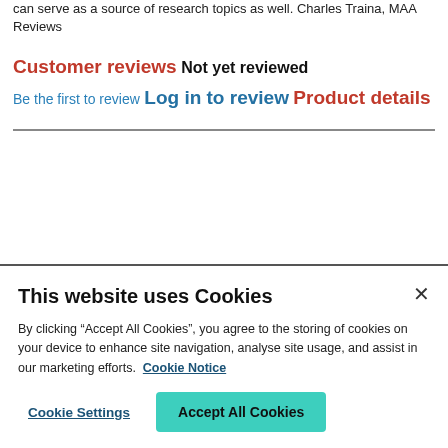can serve as a source of research topics as well. Charles Traina, MAA Reviews
Customer reviews
Not yet reviewed
Be the first to review
Log in to review
Product details
This website uses Cookies
By clicking “Accept All Cookies”, you agree to the storing of cookies on your device to enhance site navigation, analyse site usage, and assist in our marketing efforts. Cookie Notice
Cookie Settings
Accept All Cookies